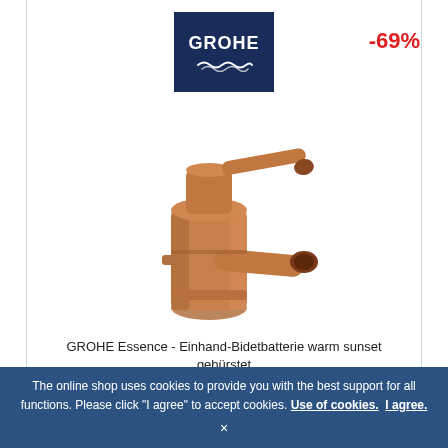[Figure (logo): GROHE brand logo — white text on dark navy blue background with wave symbol beneath]
-69%
[Figure (photo): GROHE Essence single-lever bidet faucet in warm sunset brushed (copper/rose-gold) finish, shown on white background]
GROHE Essence - Einhand-Bidetbatterie warm sunset gebürstet
€ 718.57*
€ 216.55
The online shop uses cookies to provide you with the best support for all functions. Please click "I agree" to accept cookies. Use of cookies.  I agree.
×